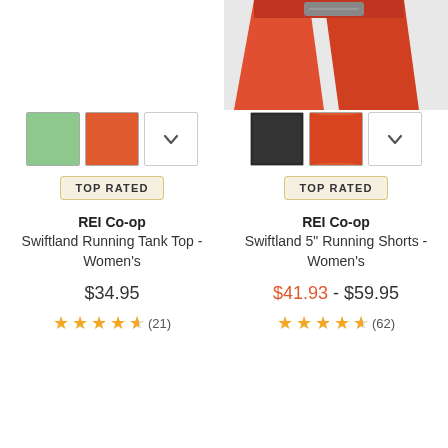[Figure (photo): Partial view of orange-red running shorts at top of page]
[Figure (other): Color swatches for REI Co-op Swiftland Running Tank Top: green, orange-red, and dropdown arrow]
TOP RATED
REI Co-op
Swiftland Running Tank Top - Women's
$34.95
4.5 stars (21)
[Figure (other): Color swatches for REI Co-op Swiftland 5" Running Shorts: black, orange-red, and dropdown arrow]
TOP RATED
REI Co-op
Swiftland 5" Running Shorts - Women's
$41.93 - $59.95
4.5 stars (62)